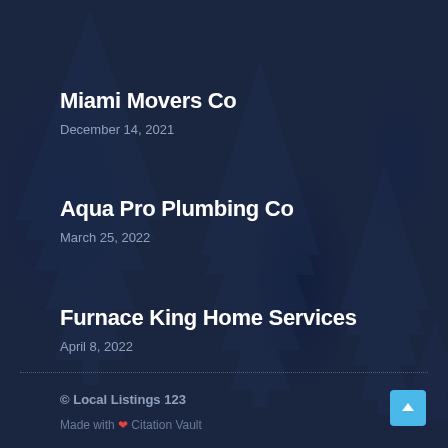Miami Movers Co
December 14, 2021
Aqua Pro Plumbing Co
March 25, 2022
Furnace King Home Services
April 8, 2022
© Local Listings 123
Made with ❤ Citation Vault